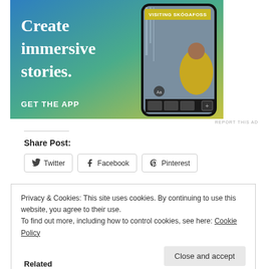[Figure (illustration): Advertisement banner with gradient background (blue to green to yellow). Large white serif text reads 'Create immersive stories.' on the left. Right side shows a smartphone mockup displaying a waterfall/outdoor photo with a yellow-jacketed person and 'VISITING SKÓGAFOSS' badge. Bottom left has 'GET THE APP' in white bold text.]
REPORT THIS AD
Share Post:
Twitter  Facebook  Pinterest
Privacy & Cookies: This site uses cookies. By continuing to use this website, you agree to their use.
To find out more, including how to control cookies, see here: Cookie Policy
Close and accept
Related